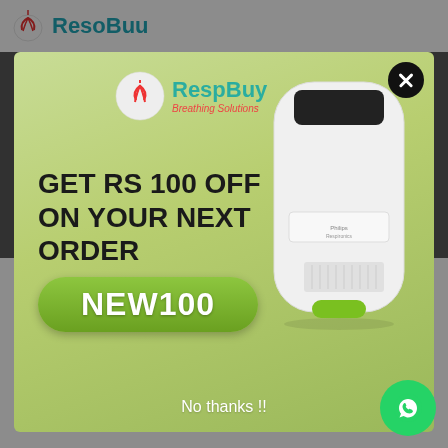[Figure (screenshot): Website navigation bar with RespBuy logo at top]
[Figure (infographic): RespBuy popup advertisement offering RS 100 OFF on next order with coupon code NEW100. Features RespBuy logo, a Philips Respironics humidifier product image, promo text 'GET RS 100 OFF ON YOUR NEXT ORDER', and a green rounded button with code 'NEW100'. Has a close (X) button and 'No thanks !!' text at the bottom.]
23min instead of 13min they have rescheduled during late night on Sunday.Delivery is also prompt.I will rate 100% for genuine product...
read more
radhakrishnan govind
2 months ago